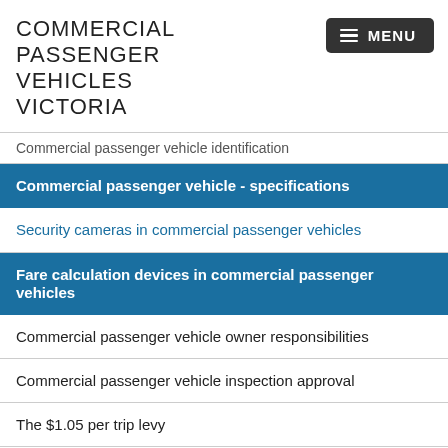COMMERCIAL PASSENGER VEHICLES VICTORIA
Commercial passenger vehicle identification
Commercial passenger vehicle - specifications
Security cameras in commercial passenger vehicles
Fare calculation devices in commercial passenger vehicles
Commercial passenger vehicle owner responsibilities
Commercial passenger vehicle inspection approval
The $1.05 per trip levy
Inform us of changes to your commercial passenger vehicle
Update my details
Fees and charges